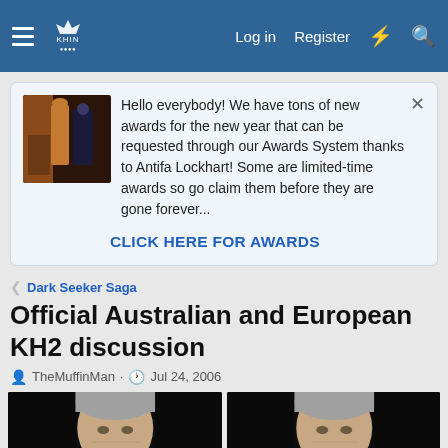Log in  Register
Hello everybody! We have tons of new awards for the new year that can be requested through our Awards System thanks to Antifa Lockhart! Some are limited-time awards so go claim them before they are gone forever...
CLICK HERE FOR AWARDS
Dark Seeker Saga
Official Australian and European KH2 discussion
TheMuffinMan · Jul 24, 2006
[Figure (photo): Two side-by-side portrait photos of an older man with silver/grey hair against a dark background]
[Figure (photo): Second portrait photo of the same older man with silver/grey hair against a dark background]